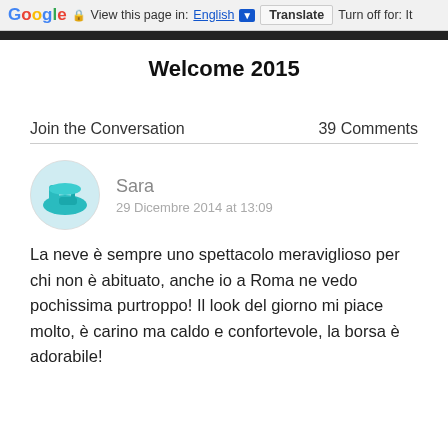Google  View this page in: English [▼]  Translate  Turn off for: It
Welcome 2015
Join the Conversation    39 Comments
Sara
29 Dicembre 2014 at 13:09
La neve è sempre uno spettacolo meraviglioso per chi non è abituato, anche io a Roma ne vedo pochissima purtroppo! Il look del giorno mi piace molto, è carino ma caldo e confortevole, la borsa è adorabile!